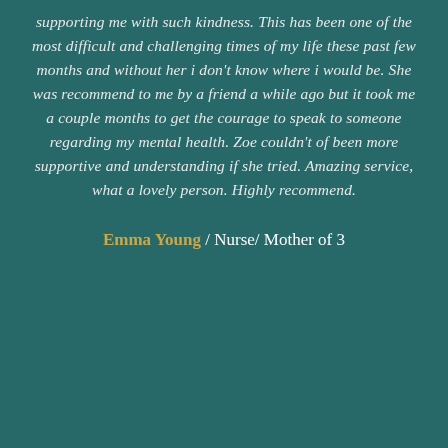supporting me with such kindness. This has been one of the most difficult and challenging times of my life these past few months and without her i don't know where i would be. She was recommend to me by a friend a while ago but it took me a couple months to get the courage to speak to someone regarding my mental health. Zoe couldn't of been more supportive and understanding if she tried. Amazing service, what a lovely person. Highly recommend.
Emma Young / Nurse/ Mother of 3